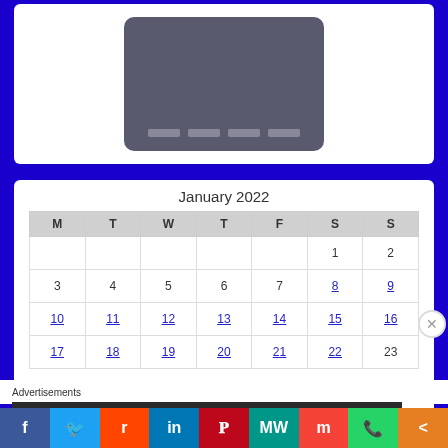[Figure (illustration): Credit card illustration with dark gray card showing four masked number blocks on a white background with blue border]
January 2022
| M | T | W | T | F | S | S |
| --- | --- | --- | --- | --- | --- | --- |
|  |  |  |  |  | 1 | 2 |
| 3 | 4 | 5 | 6 | 7 | 8 | 9 |
| 10 | 11 | 12 | 13 | 14 | 15 | 16 |
| 17 | 18 | 19 | 20 | 21 | 22 | 23 |
Advertisements
[Figure (screenshot): Advertisement banner showing 'Opinions.' in white italic text on dark background]
[Figure (infographic): Social media sharing bar with buttons for Facebook, Twitter, Reddit, LinkedIn, Pinterest, MeWe, Mix, WhatsApp, and More]